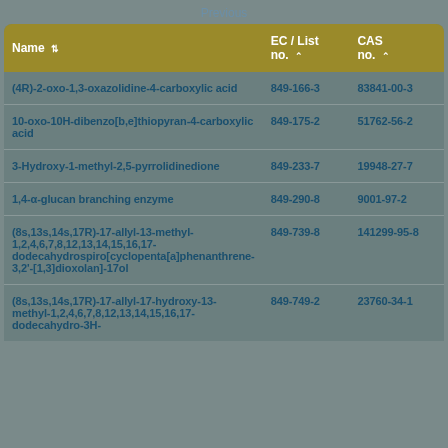Previous
| Name | EC / List no. | CAS no. |
| --- | --- | --- |
| (4R)-2-oxo-1,3-oxazolidine-4-carboxylic acid | 849-166-3 | 83841-00-3 |
| 10-oxo-10H-dibenzo[b,e]thiopyran-4-carboxylic acid | 849-175-2 | 51762-56-2 |
| 3-Hydroxy-1-methyl-2,5-pyrrolidinedione | 849-233-7 | 19948-27-7 |
| 1,4-α-glucan branching enzyme | 849-290-8 | 9001-97-2 |
| (8s,13s,14s,17R)-17-allyl-13-methyl-1,2,4,6,7,8,12,13,14,15,16,17-dodecahydrospiro[cyclopenta[a]phenanthrene-3,2'-[1,3]dioxolan]-17ol | 849-739-8 | 141299-95-8 |
| (8s,13s,14s,17R)-17-allyl-17-hydroxy-13-methyl-1,2,4,6,7,8,12,13,14,15,16,17-dodecahydro-3H- | 849-749-2 | 23760-34-1 |